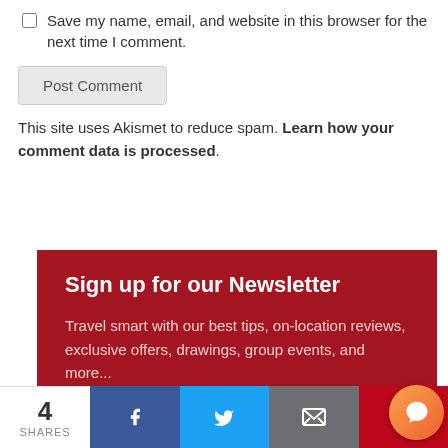Save my name, email, and website in this browser for the next time I comment.
Post Comment
This site uses Akismet to reduce spam. Learn how your comment data is processed.
Sign up for our Newsletter
Travel smart with our best tips, on-location reviews, exclusive offers, drawings, group events, and more... It's FREE!
4 SHARES